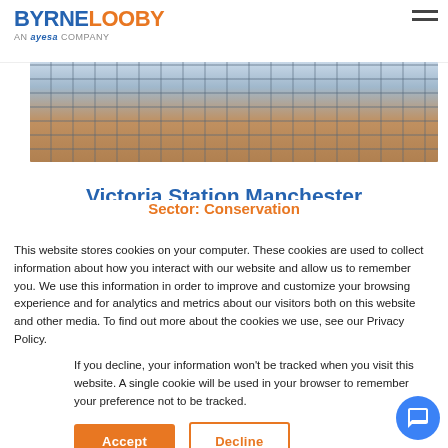BYRNELOOBY — AN ayesa COMPANY
[Figure (photo): Interior photo of a glass-roof atrium at Victoria Station Manchester, showing ornate iron framework and glass panels]
Victoria Station Manchester
Sector: Conservation
This website stores cookies on your computer. These cookies are used to collect information about how you interact with our website and allow us to remember you. We use this information in order to improve and customize your browsing experience and for analytics and metrics about our visitors both on this website and other media. To find out more about the cookies we use, see our Privacy Policy.
If you decline, your information won't be tracked when you visit this website. A single cookie will be used in your browser to remember your preference not to be tracked.